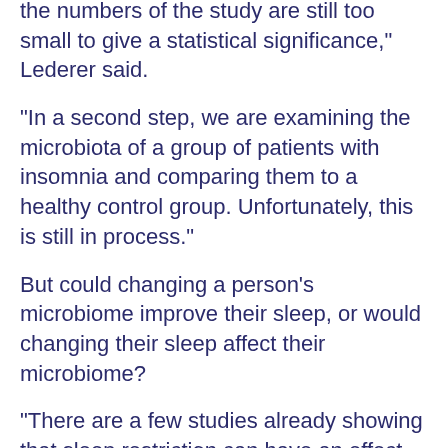the numbers of the study are still too small to give a statistical significance," Lederer said.
"In a second step, we are examining the microbiota of a group of patients with insomnia and comparing them to a healthy control group. Unfortunately, this is still in process."
But could changing a person's microbiome improve their sleep, or would changing their sleep affect their microbiome?
"There are a few studies already showing that sleep restriction can have an effect on the microbiota," Lederer explained. "I suspect that there is also an influence the other way around, of the microbiota on our sleep, but this has only been shown in limited studies with mice yet."